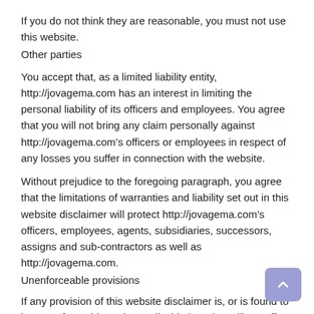If you do not think they are reasonable, you must not use this website.
Other parties
You accept that, as a limited liability entity, http://jovagema.com has an interest in limiting the personal liability of its officers and employees. You agree that you will not bring any claim personally against http://jovagema.com’s officers or employees in respect of any losses you suffer in connection with the website.
Without prejudice to the foregoing paragraph, you agree that the limitations of warranties and liability set out in this website disclaimer will protect http://jovagema.com’s officers, employees, agents, subsidiaries, successors, assigns and sub-contractors as well as http://jovagema.com.
Unenforceable provisions
If any provision of this website disclaimer is, or is found to be, unenforceable under applicable law, that will not affect the enforceability of the other provisions of this website disclaimer.